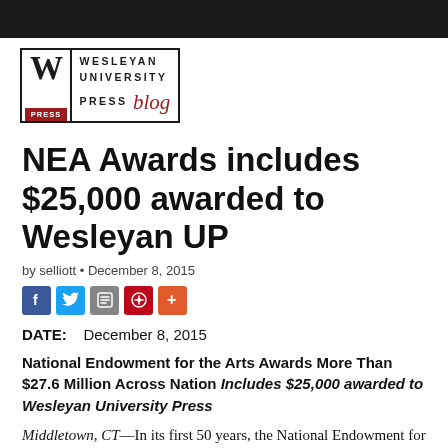[Figure (logo): Wesleyan University Press blog logo with W lettermark and red PRESS tag]
NEA Awards includes $25,000 awarded to Wesleyan UP
by selliott • December 8, 2015
[Figure (infographic): Social sharing icons: Facebook, Twitter, RSS, Pinterest, Plus]
DATE:   December 8, 2015
National Endowment for the Arts Awards More Than $27.6 Million Across Nation Includes $25,000 awarded to Wesleyan University Press
Middletown, CT—In its first 50 years, the National Endowment for the Arts (NEA) awarded more than $5